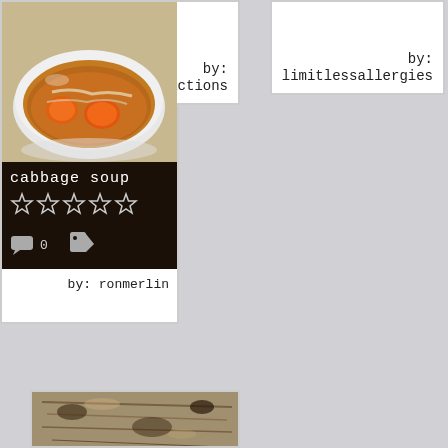by: coreextractions
by: limitlessallergies
[Figure (photo): Bowl of cabbage soup with carrots and tomatoes in broth, viewed from above on a white plate]
cabbage soup
5 stars (empty star rating)
0 comments
by: ronmerlin
[Figure (photo): Partial view of a baked/grilled food item, possibly bread or pastry]